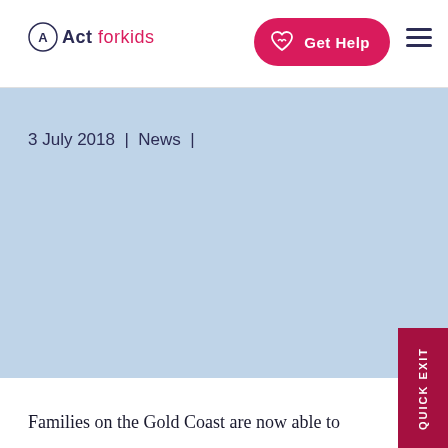Act for kids — Get Help
3 July 2018 | News |
Families on the Gold Coast are now able to